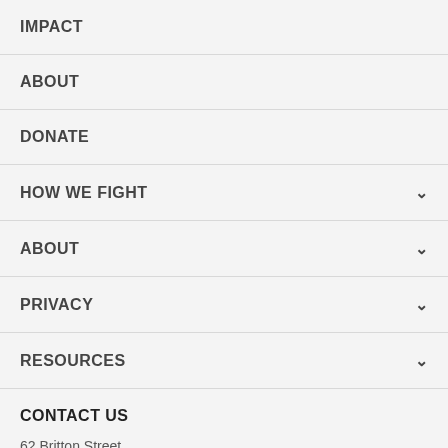IMPACT
ABOUT
DONATE
HOW WE FIGHT
ABOUT
PRIVACY
RESOURCES
CONTACT US
62 Britton Street,
London, EC1M 5UY
UK